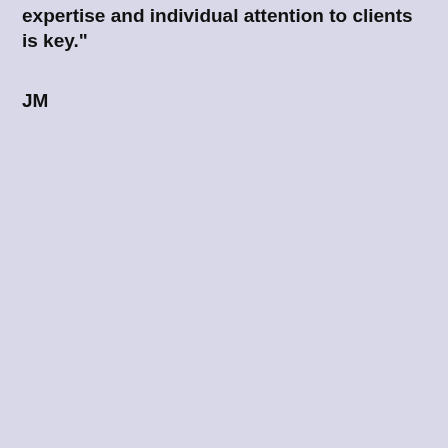expertise and individual attention to clients is key."
JM